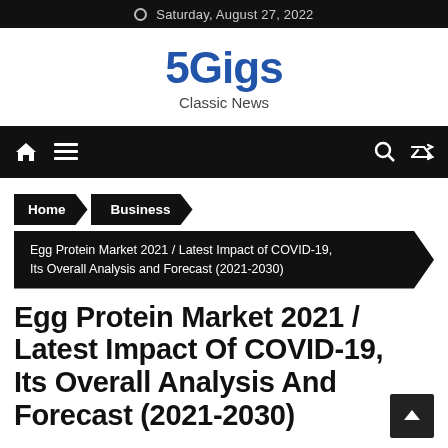Saturday, August 27, 2022
5Gigs
Classic News
Home  Business  Egg Protein Market 2021 / Latest Impact of COVID-19, Its Overall Analysis and Forecast (2021-2030)
Egg Protein Market 2021 / Latest Impact Of COVID-19, Its Overall Analysis And Forecast (2021-2030)